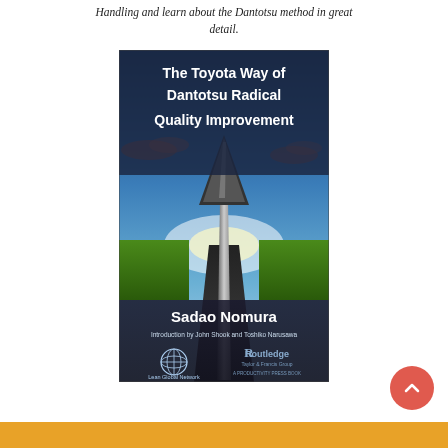Handling and learn about the Dantotsu method in great detail.
[Figure (illustration): Book cover of 'The Toyota Way of Dantotsu Radical Quality Improvement' by Sadao Nomura, with introduction by John Shook and Toshiko Narusawa. Cover features a road leading to a large upward arrow in a dramatic sky, with Lean Global Network and Routledge/Taylor & Francis Group logos at the bottom.]